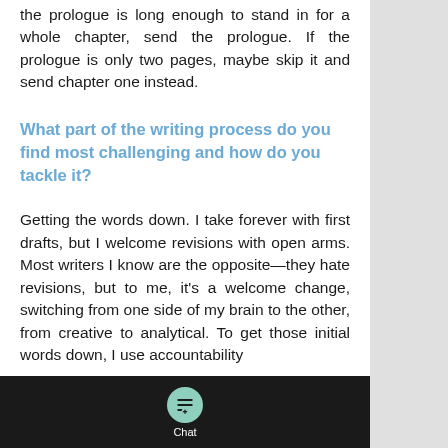the prologue is long enough to stand in for a whole chapter, send the prologue. If the prologue is only two pages, maybe skip it and send chapter one instead.
What part of the writing process do you find most challenging and how do you tackle it?
Getting the words down. I take forever with first drafts, but I welcome revisions with open arms. Most writers I know are the opposite—they hate revisions, but to me, it's a welcome change, switching from one side of my brain to the other, from creative to analytical. To get those initial words down, I use accountability